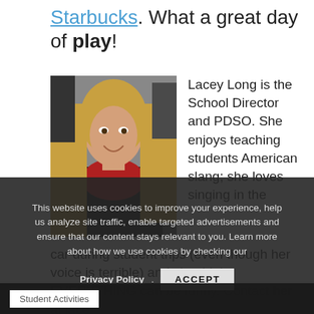Starbucks. What a great day of play!
[Figure (photo): Headshot of Lacey Long, a woman with long blonde hair wearing a red top and dark jacket, smiling]
Lacey Long is the School Director and PDSO. She enjoys teaching students American slang; she loves singing in the car during student trips (even though her voice is terrible) and she thinks EVERYTHING can be funny. Contact her at lace...
This website uses cookies to improve your experience, help us analyze site traffic, enable targeted advertisements and ensure that our content stays relevant to you. Learn more about how we use cookies by checking our Privacy Policy.
Student Activities